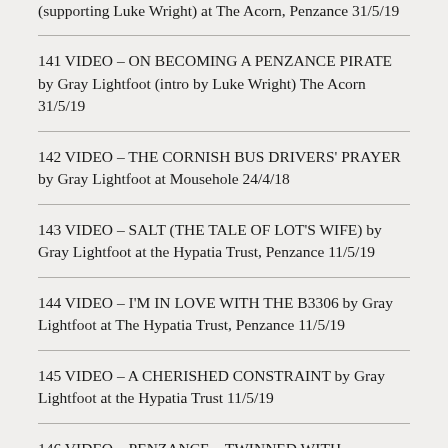(supporting Luke Wright) at The Acorn, Penzance 31/5/19
141 VIDEO – ON BECOMING A PENZANCE PIRATE by Gray Lightfoot (intro by Luke Wright) The Acorn 31/5/19
142 VIDEO – THE CORNISH BUS DRIVERS' PRAYER by Gray Lightfoot at Mousehole 24/4/18
143 VIDEO – SALT (THE TALE OF LOT'S WIFE) by Gray Lightfoot at the Hypatia Trust, Penzance 11/5/19
144 VIDEO – I'M IN LOVE WITH THE B3306 by Gray Lightfoot at The Hypatia Trust, Penzance 11/5/19
145 VIDEO – A CHERISHED CONSTRAINT by Gray Lightfoot at the Hypatia Trust 11/5/19
146 VIDEO – PENZANCE – TWINNED WITH TORTUGA by Gray Lightfoot